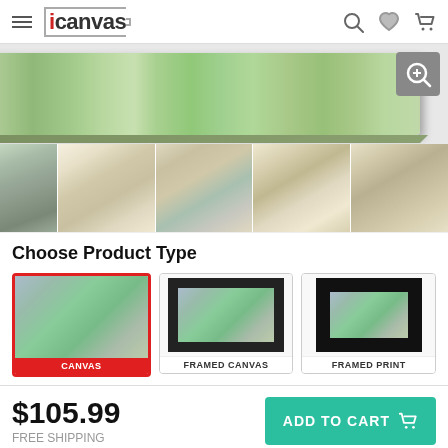iCanvas
[Figure (photo): Main product image showing a canvas print of trees/garden scene, panoramic wrap view]
[Figure (photo): Thumbnail strip showing 5 product/room scene images]
Choose Product Type
[Figure (photo): Three product type options: CANVAS (selected, red border), FRAMED CANVAS, FRAMED PRINT]
$105.99
FREE SHIPPING
ADD TO CART